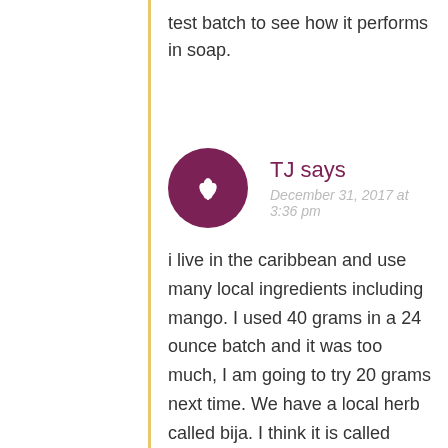test batch to see how it performs in soap.
TJ says
December 31, 2017 at 3:36 pm
i live in the caribbean and use many local ingredients including mango. I used 40 grams in a 24 ounce batch and it was too much, I am going to try 20 grams next time. We have a local herb called bija. I think it is called annetto in the states, I soak some in my soaping oil for a day to get a nice mango color